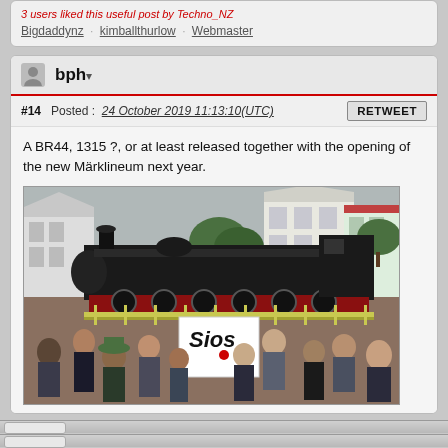3 users liked this useful post by Techno_NZ
Bigdaddynz , kimballthurlow , Webmaster
bph
#14  Posted : 24 October 2019 11:13:10(UTC)
A BR44, 1315 ?, or at least released together with the opening of the new Märklineum next year.
[Figure (photo): Outdoor event with a crowd of people and a large black steam locomotive (BR44) on display in a fenced area, with residential buildings and trees in the background. A sign reading 'Sios' is visible among the crowd.]